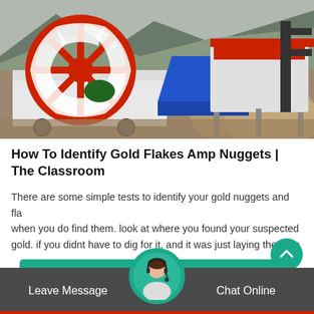[Figure (photo): Industrial sand washing machine with large red wheel/paddle, white frame, blue hopper, and another processing machine in background, outdoors near dirt mound.]
How To Identify Gold Flakes Amp Nuggets | The Classroom
There are some simple tests to identify your gold nuggets and flakes when you do find them. look at where you found your suspected gold. if you didnt have to dig for it, and it was just laying there on
GET PRICE
Leave Message   Chat Online